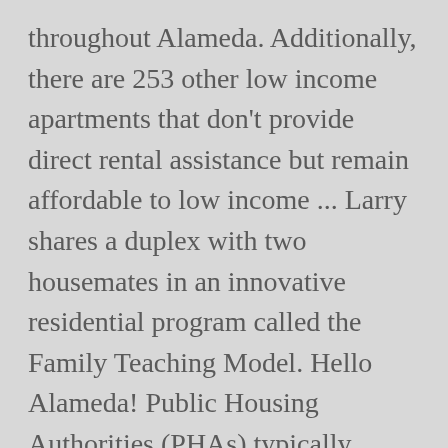throughout Alameda. Additionally, there are 253 other low income apartments that don't provide direct rental assistance but remain affordable to low income ... Larry shares a duplex with two housemates in an innovative residential program called the Family Teaching Model. Hello Alameda! Public Housing Authorities (PHAs) typically oversee two programs that provide direct assistance to tenants: overseeing units of public housing, and administering the Section 8 Housing Choice Voucher program. Hello Housing will calculate the payoff amount of your DPA loan. A major focus of ECHO Housing is on preventing homelessness and ensuring safe, fair, and affordable housing for...